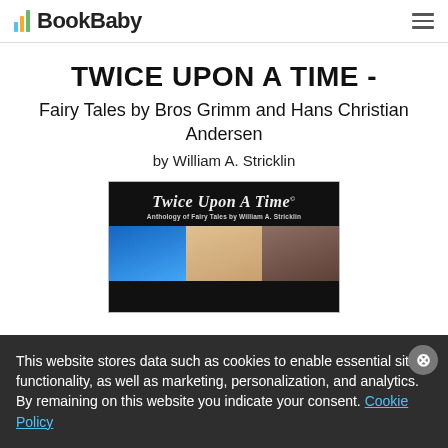BookBaby
TWICE UPON A TIME -
Fairy Tales by Bros Grimm and Hans Christian Andersen
by William A. Stricklin
[Figure (illustration): Book cover of 'Twice Upon A Time - Anthology of Fairy Tales by William A. Stricklin' with dark background and colorful image strip]
This website stores data such as cookies to enable essential site functionality, as well as marketing, personalization, and analytics. By remaining on this website you indicate your consent. Cookie Policy